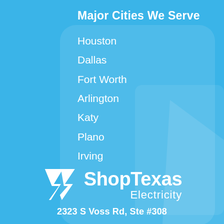Major Cities We Serve
Houston
Dallas
Fort Worth
Arlington
Katy
Plano
Irving
[Figure (logo): Shop Texas Electricity logo — white geometric lightning bolt / arrow icon with text 'ShopTexas Electricity' in white]
2323 S Voss Rd, Ste #308